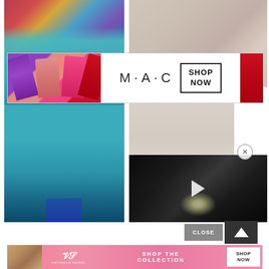[Figure (photo): Fashion runway photo: model in teal dress and tights with colorful pop-art background]
[Figure (photo): Fashion runway photo (faded/muted): model on runway, audience visible]
[Figure (screenshot): MAC Cosmetics advertisement banner featuring lipsticks in purple, pink, hot-pink, and red colors, with MAC logo, SHOP NOW box, and red lipstick on right]
[Figure (photo): Fashion runway photo (faded): model in teal dress walking runway]
[Figure (screenshot): Video thumbnail of dark fashion show runway with play button overlay and bright spotlight]
[Figure (screenshot): CLOSE button (grey) and up-arrow navigation button (dark)]
[Figure (screenshot): Victoria's Secret advertisement banner: model photo on left, VS logo, SHOP THE COLLECTION text, and SHOP NOW white button on pink background]